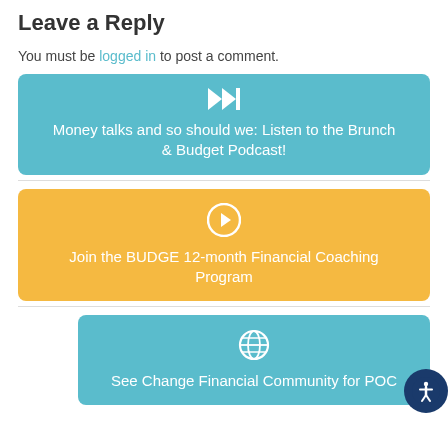Leave a Reply
You must be logged in to post a comment.
[Figure (infographic): Teal banner with fast-forward icon and text: Money talks and so should we: Listen to the Brunch & Budget Podcast!]
[Figure (infographic): Gold/yellow banner with arrow-in-circle icon and text: Join the BUDGE 12-month Financial Coaching Program]
[Figure (infographic): Teal banner with globe icon and text: See Change Financial Community for POC]